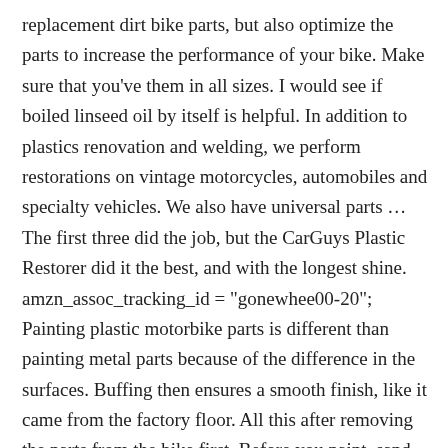replacement dirt bike parts, but also optimize the parts to increase the performance of your bike. Make sure that you've them in all sizes. I would see if boiled linseed oil by itself is helpful. In addition to plastics renovation and welding, we perform restorations on vintage motorcycles, automobiles and specialty vehicles. We also have universal parts … The first three did the job, but the CarGuys Plastic Restorer did it the best, and with the longest shine. amzn_assoc_tracking_id = "gonewhee00-20"; Painting plastic motorbike parts is different than painting metal parts because of the difference in the surfaces. Buffing then ensures a smooth finish, like it came from the factory floor. All this after removing the parts from the bike first. Before you paint, sand the primed surfaces and wipe them with a rag and a little paint thinner to clean them. First things first